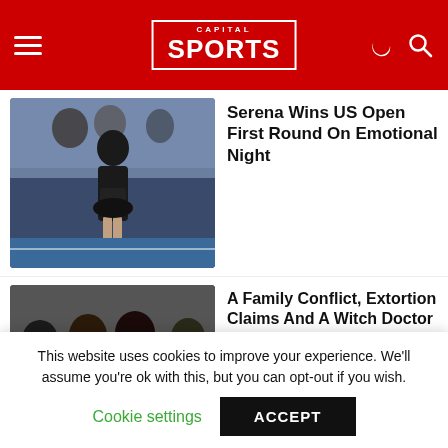CAPITAL SPORTS
[Figure (photo): Serena Williams in a black dress on a tennis court at night, crowd in background]
Serena Wins US Open First Round On Emotional Night
[Figure (photo): Several soccer players in red jerseys, group photo]
A Family Conflict, Extortion Claims And A Witch Doctor – What Is The Paul Pogba Affair?
[Figure (photo): Thierry Henry, bald man smiling, close-up portrait]
Arsenal Legend Thiery Henry Begins 'New Chapter' As Shareholder Of Ambitious Italian Club Como
This website uses cookies to improve your experience. We'll assume you're ok with this, but you can opt-out if you wish.
Cookie settings   ACCEPT